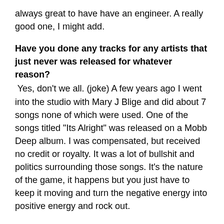always great to have have an engineer. A really good one, I might add.
Have you done any tracks for any artists that just never was released for whatever reason?
Yes, don't we all. (joke) A few years ago I went into the studio with Mary J Blige and did about 7 songs none of which were used. One of the songs titled "Its Alright" was released on a Mobb Deep album. I was compensated, but received no credit or royalty. It was a lot of bullshit and politics surrounding those songs. It's the nature of the game, it happens but you just have to keep it moving and turn the negative energy into positive energy and rock out.
What have you been working on lately? Aside from making tracks, which I still enjoy 20 years in,